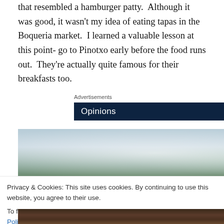that resembled a hamburger patty.  Although it was good, it wasn't my idea of eating tapas in the Boqueria market.  I learned a valuable lesson at this point- go to Pinotxo early before the food runs out.  They're actually quite famous for their breakfasts too.
Advertisements
[Figure (screenshot): Dark navy blue advertisement banner with 'Opinions' text in white and two circular icons on the right]
[Figure (photo): Close-up food photo showing a white plate with green garnish/herbs and food in soft focus]
Privacy & Cookies: This site uses cookies. By continuing to use this website, you agree to their use.
To find out more, including how to control cookies, see here: Cookie Policy
Close and accept
[Figure (photo): Bottom portion of a food photo showing dark colored food, possibly meat with garnish]